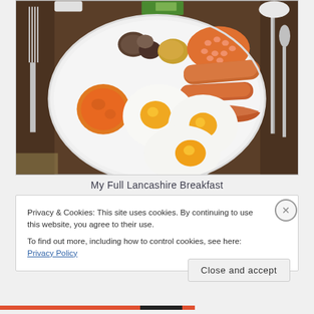[Figure (photo): A full cooked English/Lancashire breakfast on a large white round plate, showing two fried eggs, one fried egg partially visible, grilled mushrooms, a hash brown or breaded item, baked beans, two sausages, bacon rashers, and a grilled tomato half. The plate is set on a wooden table with cutlery (forks on the left, knife and spoon on the right). A green and white card is visible in the background.]
My Full Lancashire Breakfast
Privacy & Cookies: This site uses cookies. By continuing to use this website, you agree to their use.
To find out more, including how to control cookies, see here: Privacy Policy